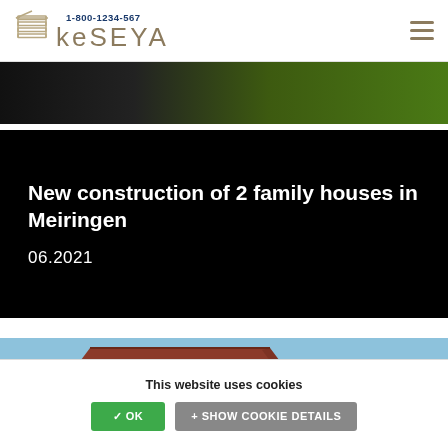KESEYA 1-800-1234-567
[Figure (photo): Partial landscape/grass photo strip at top of page]
New construction of 2 family houses in Meiringen
06.2021
[Figure (photo): Photo of a house with red/brown roof against blue sky, partially visible]
This website uses cookies
✓ OK   + SHOW COOKIE DETAILS